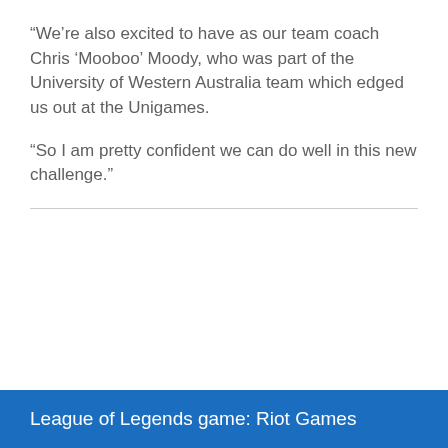“We’re also excited to have as our team coach Chris ‘Mooboo’ Moody, who was part of the University of Western Australia team which edged us out at the Unigames.
“So I am pretty confident we can do well in this new challenge.”
League of Legends game: Riot Games